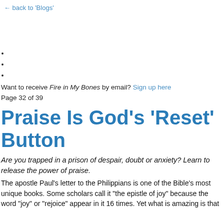← back to 'Blogs'
Want to receive Fire in My Bones by email? Sign up here
Page 32 of 39
Praise Is God's 'Reset' Button
Are you trapped in a prison of despair, doubt or anxiety? Learn to release the power of praise.
The apostle Paul's letter to the Philippians is one of the Bible's most unique books. Some scholars call it "the epistle of joy" because the word "joy" or "rejoice" appear in it 16 times. Yet what is amazing is that